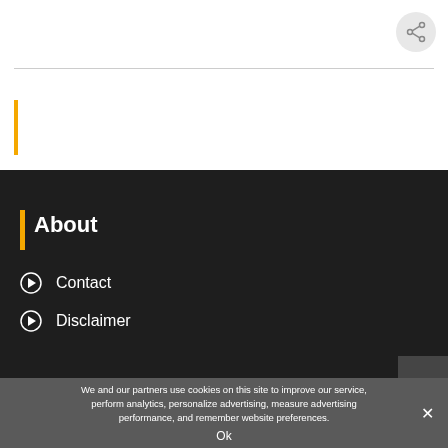[Figure (other): Share icon button (circle with share/network icon) in top-right corner]
About
Contact
Disclaimer
We and our partners use cookies on this site to improve our service, perform analytics, personalize advertising, measure advertising performance, and remember website preferences.
Ok